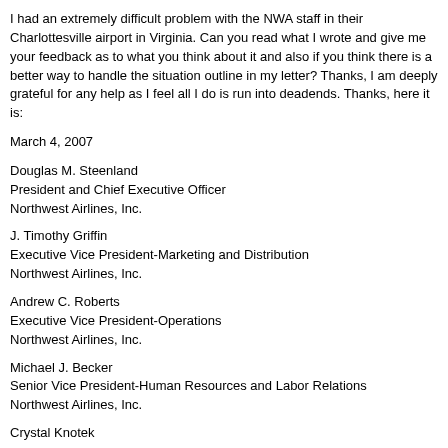I had an extremely difficult problem with the NWA staff in their Charlottesville airport in Virginia. Can you read what I wrote and give me your feedback as to what you think about it and also if you think there is a better way to handle the situation outline in my letter? Thanks, I am deeply grateful for any help as I feel all I do is run into deadends. Thanks, here it is:
March 4, 2007
Douglas M. Steenland
President and Chief Executive Officer
Northwest Airlines, Inc.
J. Timothy Griffin
Executive Vice President-Marketing and Distribution
Northwest Airlines, Inc.
Andrew C. Roberts
Executive Vice President-Operations
Northwest Airlines, Inc.
Michael J. Becker
Senior Vice President-Human Resources and Labor Relations
Northwest Airlines, Inc.
Crystal Knotek